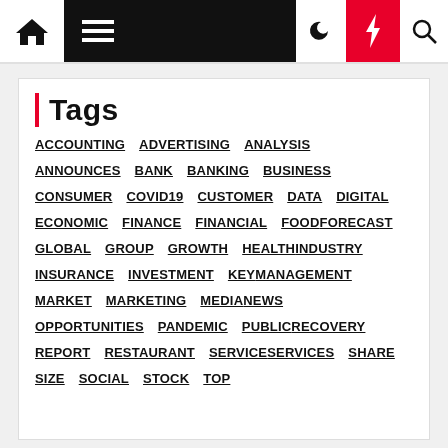Navigation bar with home, menu, moon, bolt, search icons
Tags
ACCOUNTING
ADVERTISING
ANALYSIS
ANNOUNCES
BANK
BANKING
BUSINESS
CONSUMER
COVID19
CUSTOMER
DATA
DIGITAL
ECONOMIC
FINANCE
FINANCIAL
FOOD
FORECAST
GLOBAL
GROUP
GROWTH
HEALTH
INDUSTRY
INSURANCE
INVESTMENT
KEY
MANAGEMENT
MARKET
MARKETING
MEDIA
NEWS
OPPORTUNITIES
PANDEMIC
PUBLIC
RECOVERY
REPORT
RESTAURANT
SERVICE
SERVICES
SHARE
SIZE
SOCIAL
STOCK
TOP